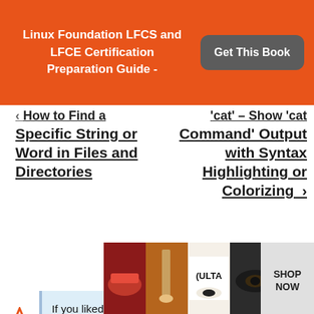Linux Foundation LFCS and LFCE Certification Preparation Guide - Get This Book
← How to Find a Specific String or Word in Files and Directories
'cat' – Show 'cat Command' Output with Syntax Highlighting or Colorizing →
If you liked this article, then do subscribe to email alerts for Linux tutorials. If you have any questions or doubts? do ask for help in the
[Figure (photo): Ulta beauty advertisement banner showing makeup products and models]